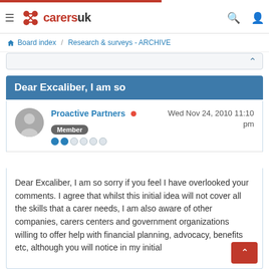CarersUK — navigation bar
Board index / Research & surveys - ARCHIVE
Dear Excaliber, I am so
Proactive Partners • Wed Nov 24, 2010 11:10 pm
Member
Dear Excaliber, I am so sorry if you feel I have overlooked your comments. I agree that whilst this initial idea will not cover all the skills that a carer needs, I am also aware of other companies, carers centers and government organizations willing to offer help with financial planning, advocacy, benefits etc, although you will notice in my initial